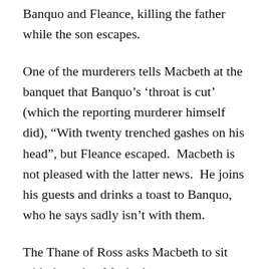Banquo and Fleance, killing the father while the son escapes.
One of the murderers tells Macbeth at the banquet that Banquo’s ‘throat is cut’ (which the reporting murderer himself did), “With twenty trenched gashes on his head”, but Fleance escaped.  Macbeth is not pleased with the latter news.  He joins his guests and drinks a toast to Banquo, who he says sadly isn’t with them.
The Thane of Ross asks Macbeth to sit with them, but Macbeth sees someone sitting at the chair Lennox gestures to.  No one else sees anyone sitting there, but Macbeth insists the chair isn’t vacant.  He looks closer, and is shocked to see Banquo’s ghost.  Everyone is surprised at Macbeth’s wildly fearful reaction, since